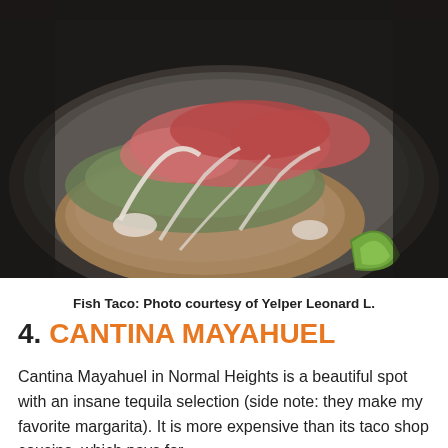[Figure (photo): Close-up photo of a fish taco on a corn tortilla topped with pico de gallo, shredded cabbage, white cream sauce drizzled on top, served on a dark ceramic plate with a lime wedge on the side.]
Fish Taco: Photo courtesy of Yelper Leonard L.
4. CANTINA MAYAHUEL
Cantina Mayahuel in Normal Heights is a beautiful spot with an insane tequila selection (side note: they make my favorite margarita). It is more expensive than its taco shop cousins, which pays for